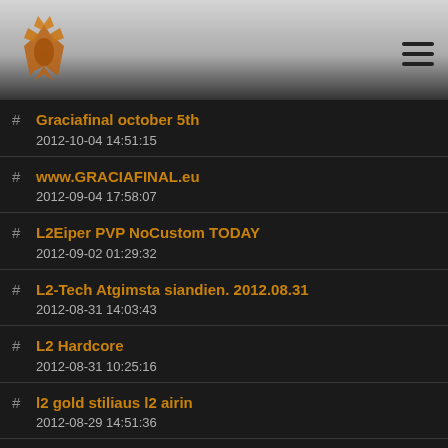Dragon logo and hamburger menu
# Graciafinal october 5th
2012-10-04 14:51:15
# www.GRACIAFINAL.eu
2012-09-04 17:58:07
# L2Eiper PVP NoCustom TODAY
2012-09-02 01:29:32
# L2-Tech Atgimsta siandien. 2012.08.31
2012-08-31 14:03:43
# L2 Hardcore
2012-08-31 10:25:16
# l2 gold stiliaus l2 airin
2012-08-29 14:51:36
# graciafinal.eu
2012-08-28 20:24:23
# L2-ReMix Atgyja!!!
2012-08-05 22:06:11